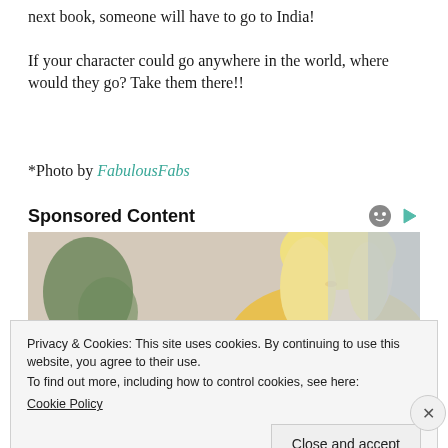next book, someone will have to go to India!
If your character could go anywhere in the world, where would they go? Take them there!!
*Photo by FabulousFabs
Sponsored Content
[Figure (photo): Blonde woman in yellow top looking down, green plant in background]
Privacy & Cookies: This site uses cookies. By continuing to use this website, you agree to their use.
To find out more, including how to control cookies, see here:
Cookie Policy
Close and accept